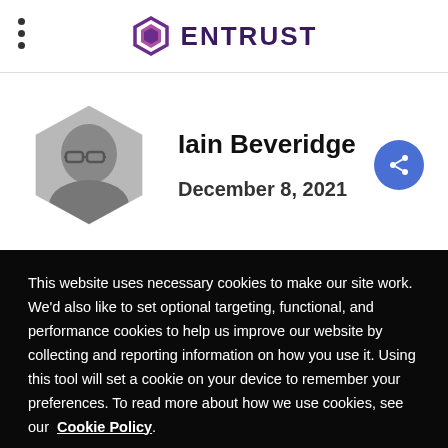ENTRUST
[Figure (photo): Hexagon-framed black and white portrait photo of Iain Beveridge, a man with glasses and short hair, smiling]
Iain Beveridge
December 8, 2021
This website uses necessary cookies to make our site work. We'd also like to set optional targeting, functional, and performance cookies to help us improve our website by collecting and reporting information on how you use it. Using this tool will set a cookie on your device to remember your preferences. To read more about how we use cookies, see our Cookie Policy.
Cookies Settings | Accept All Cookies